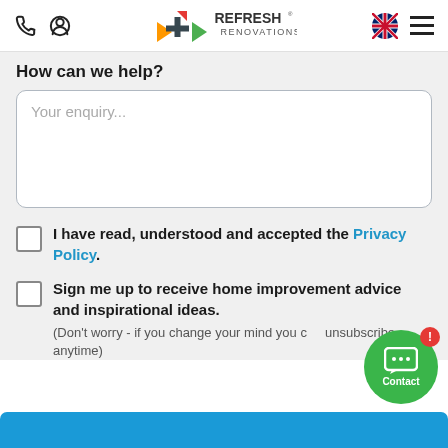Refresh Renovations — navigation header with phone, account, logo, language selector, menu icons
How can we help?
Your enquiry... (textarea placeholder)
I have read, understood and accepted the Privacy Policy.
Sign me up to receive home improvement advice and inspirational ideas. (Don't worry - if you change your mind you can unsubscribe anytime)